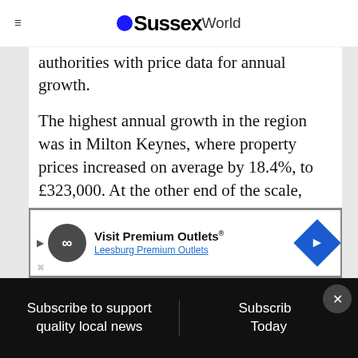OSussexWorld
authorities with price data for annual growth.
The highest annual growth in the region was in Milton Keynes, where property prices increased on average by 18.4%, to £323,000. At the other end of the scale, properties in Slough gained just 3.8% in value, giving an average price of £304,000.
First steps on the property ladder
[Figure (other): Advertisement banner for Visit Premium Outlets / Leesburg Premium Outlets]
First-time buyers in Bath or on to average
Subscribe to support quality local news | Subscribe Today